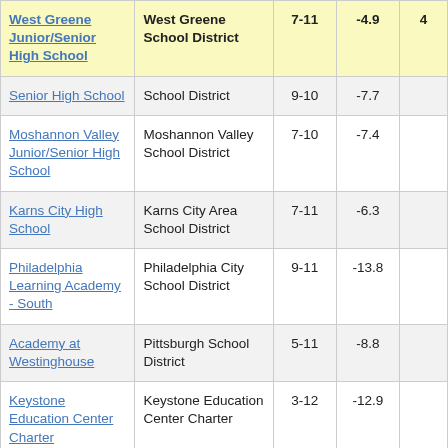| School | District | Grades | Col4 | Col5 |
| --- | --- | --- | --- | --- |
| West Greene Junior/Senior High School | West Greene School District | 7-11 | -4.9 | 4 |
| Senior High School | School District | 9-10 | -7.7 |  |
| Moshannon Valley Junior/Senior High School | Moshannon Valley School District | 7-10 | -7.4 |  |
| Karns City High School | Karns City Area School District | 7-11 | -6.3 |  |
| Philadelphia Learning Academy - South | Philadelphia City School District | 9-11 | -13.8 |  |
| Academy at Westinghouse | Pittsburgh School District | 5-11 | -8.8 |  |
| Keystone Education Center Charter | Keystone Education Center Charter | 3-12 | -12.9 |  |